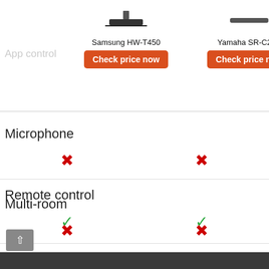App control
Samsung HW-T450
Check price now
Yamaha SR-C20A
Check price now
Microphone
| Samsung HW-T450 | Yamaha SR-C20A |
| --- | --- |
| ✗ | ✗ |
Remote control
| Samsung HW-T450 | Yamaha SR-C20A |
| --- | --- |
| ✓ | ✓ |
Multi-room
| Samsung HW-T450 | Yamaha SR-C20A |
| --- | --- |
| ✗ | ✗ |